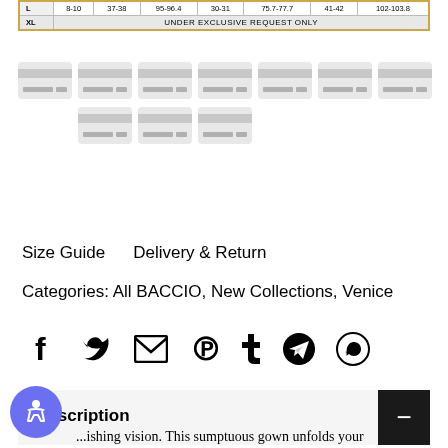| Size | Col1 | Col2 | Col3 | Col4 | Col5 | Col6 |
| --- | --- | --- | --- | --- | --- | --- |
| L | 8-10 | 37-38 | 95-96.4 | 30-31 | 75.7-77.7 | 41-42 | 102-103.8 |
| XL | UNDER EXCLUSIVE REQUEST ONLY |  |  |  |  |  |  |
[Figure (other): Payment method icons — two rows of credit card placeholder images]
Size Guide    Delivery & Return
Categories: All BACCIO, New Collections, Venice
[Figure (other): Social sharing icons: Facebook, Twitter, Email, Pinterest, Tumblr, Telegram, WhatsApp]
Description
...ishing vision. This sumptuous gown unfolds your